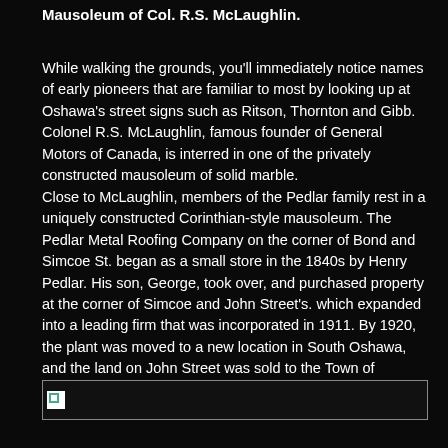Mausoleum of Col. R.S. McLaughlin.
While walking the grounds, you’ll immediately notice names of early pioneers that are familiar to most by looking up at Oshawa’s street signs such as Ritson, Thornton and Gibb. Colonel R.S. McLaughlin, famous founder of General Motors of Canada, is interred in one of the privately constructed mausoleum of solid marble.
Close to McLaughlin, members of the Pedlar family rest in a uniquely constructed Corinthian-style mausoleum. The Pedlar Metal Roofing Company on the corner of Bond and Simcoe St. began as a small store in the 1840s by Henry Pedlar. His son, George, took over, and purchased property at the corner of Simcoe and John Street’s. which expanded into a leading firm that was incorporated in 1911. By 1920, the plant was moved to a new location in South Oshawa, and the land on John Street was sold to the Town of Oshawa to be used for Memorial Park.
[Figure (photo): Broken image placeholder at the bottom of the page]